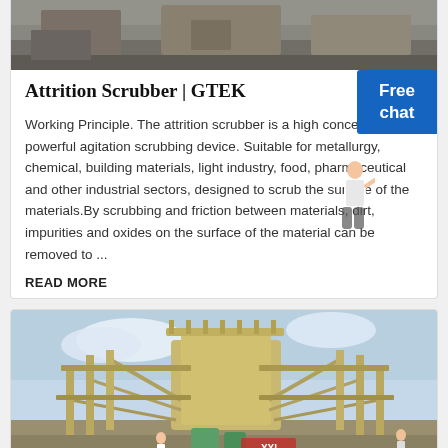[Figure (photo): Top portion of a photo showing industrial/workshop scene with grey tones]
Attrition Scrubber | GTEK
Working Principle. The attrition scrubber is a high concentration, powerful agitation scrubbing device. Suitable for metallurgy, chemical, building materials, light industry, food, pharmaceutical and other industrial sectors, designed to scrub the surface of the materials.By scrubbing and friction between materials, dirt, impurities and oxides on the surface of the material can be removed to ...
READ MORE
[Figure (photo): Large industrial mining or processing equipment with scaffolding, metal framework, conveyor belts, and green tanks/vessels against a blue sky]